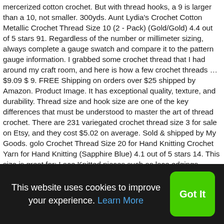mercerized cotton crochet. But with thread hooks, a 9 is larger than a 10, not smaller. 300yds. Aunt Lydia's Crochet Cotton Metallic Crochet Thread Size 10 (2 - Pack) (Gold/Gold) 4.4 out of 5 stars 91. Regardless of the number or millimeter sizing, always complete a gauge swatch and compare it to the pattern gauge information. I grabbed some crochet thread that I had around my craft room, and here is how a few crochet threads … $9.09 $ 9. FREE Shipping on orders over $25 shipped by Amazon. Product Image. It has exceptional quality, texture, and durability. Thread size and hook size are one of the key differences that must be understood to master the art of thread crochet. There are 231 variegated crochet thread size 3 for sale on Etsy, and they cost $5.02 on average. Sold & shipped by My Goods. golo Crochet Thread Size 20 for Hand Knitting Crochet Yarn for Hand Knitting (Sapphire Blue) 4.1 out of 5 stars 14. This size is great for: Lace Knitted pieces such as lace edgings, doilies and motifs; Crocheted pieces
This website uses cookies to improve your experience. Learn More